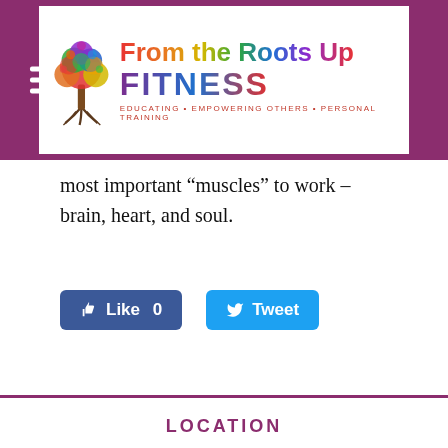[Figure (logo): From the Roots Up FITNESS logo with colorful tree and rainbow text on white background inside a purple header bar]
most important “muscles” to work – brain, heart, and soul.
[Figure (other): Facebook Like button showing 'Like 0' and Twitter Tweet button]
LOCATION
MORRO BAY, CALIFORNIA
TELEPHONE